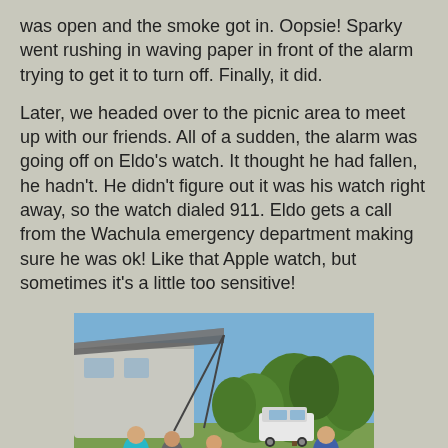was open and the smoke got in. Oopsie! Sparky went rushing in waving paper in front of the alarm trying to get it to turn off. Finally, it did.
Later, we headed over to the picnic area to meet up with our friends. All of a sudden, the alarm was going off on Eldo's watch. It thought he had fallen, he hadn't. He didn't figure out it was his watch right away, so the watch dialed 911. Eldo gets a call from the Wachula emergency department making sure he was ok! Like that Apple watch, but sometimes it's a little too sensitive!
[Figure (photo): Outdoor photo of four people sitting in lawn chairs under an RV awning, with trees and a white SUV visible in the background.]